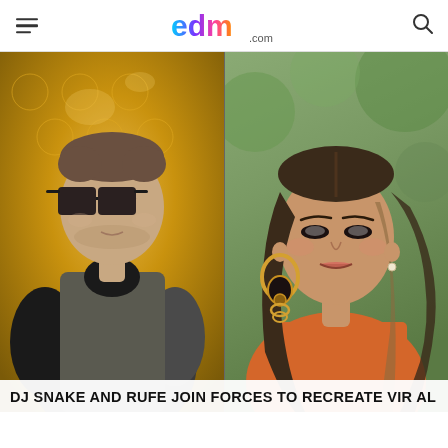edm.com
[Figure (photo): Split photo: left side shows a man (DJ Snake) wearing dark sunglasses and a grey/black leather jacket, against a gold tufted background. Right side shows a woman (Rufe) in an orange outfit with large gold hoop earrings, against a green outdoor background.]
DJ SNAKE AND RUFE JOIN FORCES TO RECREATE VIR AL